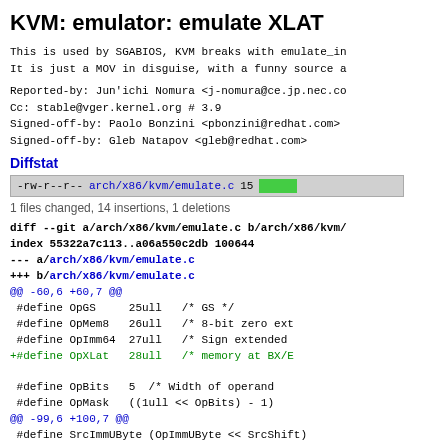KVM: emulator: emulate XLAT
This is used by SGABIOS, KVM breaks with emulate_in
It is just a MOV in disguise, with a funny source a
Reported-by: Jun'ichi Nomura <j-nomura@ce.jp.nec.co
Cc: stable@vger.kernel.org # 3.9
Signed-off-by: Paolo Bonzini <pbonzini@redhat.com>
Signed-off-by: Gleb Natapov <gleb@redhat.com>
Diffstat
-rw-r--r-- arch/x86/kvm/emulate.c 15 [green bar]
1 files changed, 14 insertions, 1 deletions
diff --git a/arch/x86/kvm/emulate.c b/arch/x86/kvm/
index 55322a7c113..a06a550c2db 100644
--- a/arch/x86/kvm/emulate.c
+++ b/arch/x86/kvm/emulate.c
@@ -60,6 +60,7 @@
 #define OpGS     25ull  /* GS */
 #define OpMem8   26ull  /* 8-bit zero ext
 #define OpImm64  27ull  /* Sign extended
+#define OpXLat   28ull  /* memory at BX/E

 #define OpBits   5  /* Width of operand
 #define OpMask   ((1ull << OpBits) - 1)
@@ -99,6 +100,7 @@
 #define SrcImmUByte (OpImmUByte << SrcShift)